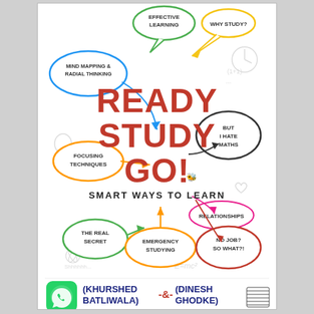[Figure (illustration): Book cover for 'Ready Study Go! Smart Ways to Learn' by Khurshed Batliwala and Dinesh Ghodke. Features a mind-map style illustration with various topic bubbles including: Mind Mapping & Radial Thinking (blue), Effective Learning (green), Why Study? (yellow), But I Hate Maths (black oval), Focusing Techniques (orange), Relationships (pink), The Real Secret (green), Emergency Studying (orange), No Job? So What?! (red). Large red bold title text 'READY STUDY GO!' with subtitle 'SMART WAYS TO LEARN'. Authors listed at bottom with WhatsApp icon and publisher logo.]